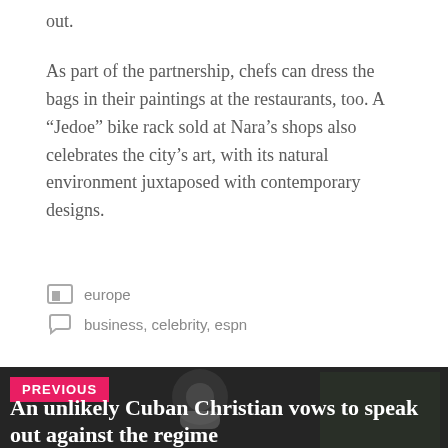out.
As part of the partnership, chefs can dress the bags in their paintings at the restaurants, too. A “Jedoe” bike rack sold at Nara’s shops also celebrates the city’s art, with its natural environment juxtaposed with contemporary designs.
europe
business, celebrity, espn
PREVIOUS
An unlikely Cuban Christian vows to speak out against the regime